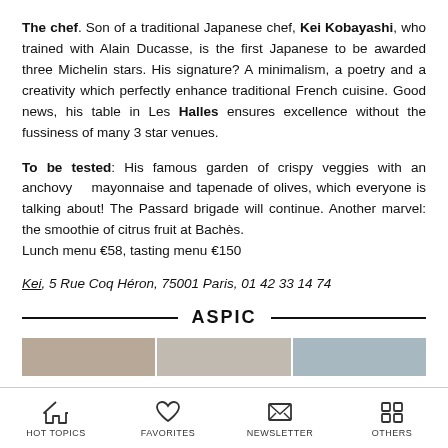The chef. Son of a traditional Japanese chef, Kei Kobayashi, who trained with Alain Ducasse, is the first Japanese to be awarded three Michelin stars. His signature? A minimalism, a poetry and a creativity which perfectly enhance traditional French cuisine. Good news, his table in Les Halles ensures excellence without the fussiness of many 3 star venues.
To be tested: His famous garden of crispy veggies with an anchovy mayonnaise and tapenade of olives, which everyone is talking about! The Passard brigade will continue. Another marvel: the smoothie of citrus fruit at Bachès. Lunch menu €58, tasting menu €150
Kei, 5 Rue Coq Héron, 75001 Paris, 01 42 33 14 74
ASPIC
[Figure (photo): Three partially visible food/restaurant photos in a horizontal strip]
HOT TOPICS   FAVORITES   NEWSLETTER   OTHERS